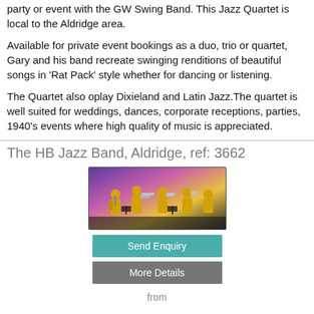party or event with the GW Swing Band. This Jazz Quartet is local to the Aldridge area.
Available for private event bookings as a duo, trio or quartet, Gary and his band recreate swinging renditions of beautiful songs in 'Rat Pack' style whether for dancing or listening.
The Quartet also oplay Dixieland and Latin Jazz.The quartet is well suited for weddings, dances, corporate receptions, parties, 1940's events where high quality of music is appreciated.
The HB Jazz Band, Aldridge, ref: 3662
[Figure (photo): Photo of the HB Jazz Band performing on stage, musicians wearing yellow jackets with brass instruments, colorful stage lighting in background]
Send Enquiry
More Details
from